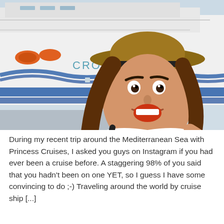[Figure (photo): A young woman wearing a wide-brimmed straw hat with a dark band, taking a selfie with an excited/surprised expression (wide eyes, open mouth). Behind her is a large white cruise ship with the text 'CROWN P' visible on its hull, along with blue wave graphics. She is wearing a white top and has long brown hair.]
During my recent trip around the Mediterranean Sea with Princess Cruises, I asked you guys on Instagram if you had ever been a cruise before. A staggering 98% of you said that you hadn't been on one YET, so I guess I have some convincing to do ;-) Traveling around the world by cruise ship [...]